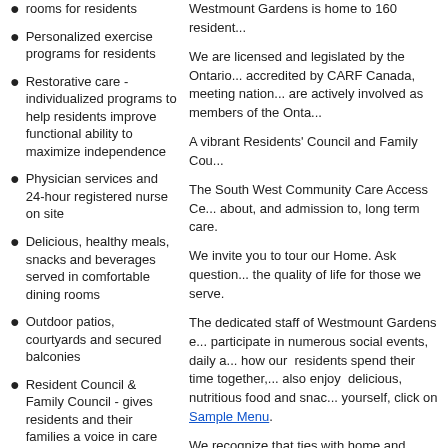rooms for residents
Personalized exercise programs for residents
Restorative care - individualized programs to help residents improve functional ability to maximize independence
Physician services and 24-hour registered nurse on site
Delicious, healthy meals, snacks and beverages served in comfortable dining rooms
Outdoor patios, courtyards and secured balconies
Resident Council & Family Council - gives residents and their families a voice in care decisions
Beauty salon, mobile gift shop, café
Westmount Gardens is home to 160 residents...
We are licensed and legislated by the Ontario... accredited by CARF Canada, meeting nation... are actively involved as members of the Onta...
A vibrant Residents' Council and Family Cou...
The South West Community Care Access Ce... about, and admission to, long term care.
We invite you to tour our Home. Ask question... the quality of life for those we serve.
The dedicated staff of Westmount Gardens e... participate in numerous social events, daily a... how our residents spend their time together,... also enjoy delicious, nutritious food and sna... yourself, click on Sample Menu.
We recognize that ties with home and family ... they're invited to furnish their rooms with pers... always welcome and encouraged.
S&R's open policy provides all information o... & compliance reports to all residents and the... Home for your review. If you have questions... Home.